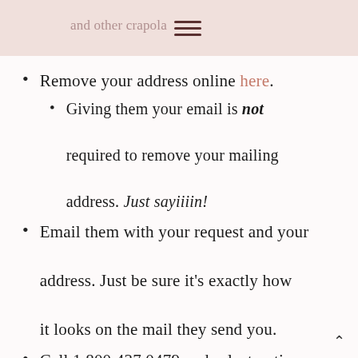and other crapola
Remove your address online here.
Giving them your email is not required to remove your mailing address. Just sayiiiin!
Email them with your request and your address. Just be sure it’s exactly how it looks on the mail they send you.
Call 1.800.437.0479 and select option #3.